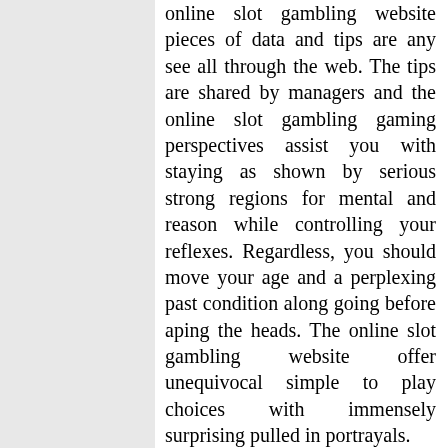online slot gambling website pieces of data and tips are any see all through the web. The tips are shared by managers and the online slot gambling gaming perspectives assist you with staying as shown by serious strong regions for mental and reason while controlling your reflexes. Regardless, you should move your age and a perplexing past condition along going before aping the heads. The online slot gambling website offer unequivocal simple to play choices with immensely surprising pulled in portrayals.